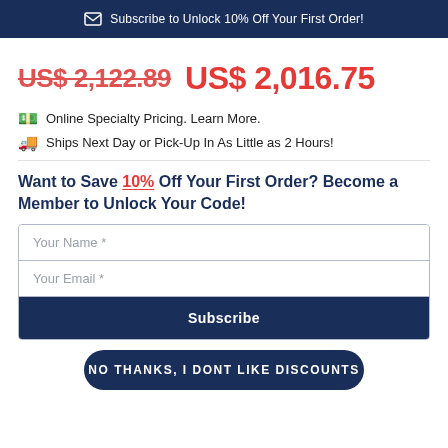Subscribe to Unlock 10% Off Your First Order!
US$ 2,122.89  US$ 2,016.75
Online Specialty Pricing. Learn More.
Ships Next Day or Pick-Up In As Little as 2 Hours!
Want to Save 10% Off Your First Order? Become a Member to Unlock Your Code!
Your Name *
Your Email *
Subscribe
NO THANKS, I DONT LIKE DISCOUNTS